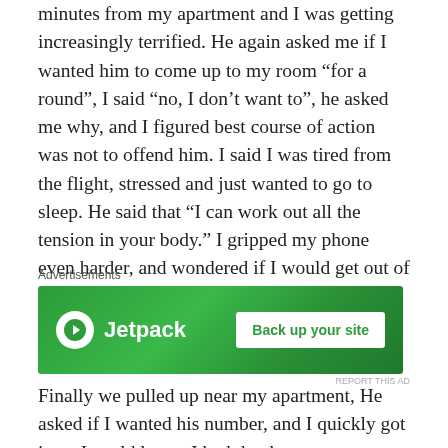minutes from my apartment and I was getting increasingly terrified. He again asked me if I wanted him to come up to my room “for a round”, I said “no, I don’t want to”, he asked me why, and I figured best course of action was not to offend him. I said I was tired from the flight, stressed and just wanted to go to sleep. He said that “I can work out all the tension in your body.” I gripped my phone even harder, and wondered if I would get out of this cab safe.
[Figure (screenshot): Jetpack advertisement banner with green background showing Jetpack logo and 'Back up your site' button]
Finally we pulled up near my apartment, He asked if I wanted his number, and I quickly got it, so I could leave. I had the door open even before we stopped so I could dash out if needed. He then asked a third time if he could come up. I said no and his response was “aww but I’ve